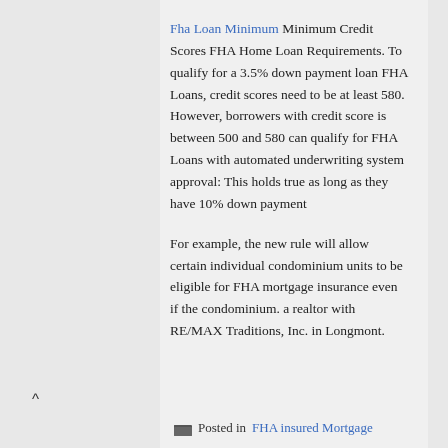Fha Loan Minimum Minimum Credit Scores FHA Home Loan Requirements. To qualify for a 3.5% down payment loan FHA Loans, credit scores need to be at least 580. However, borrowers with credit score is between 500 and 580 can qualify for FHA Loans with automated underwriting system approval: This holds true as long as they have 10% down payment
For example, the new rule will allow certain individual condominium units to be eligible for FHA mortgage insurance even if the condominium. a realtor with RE/MAX Traditions, Inc. in Longmont.
^
Posted in FHA insured Mortgage